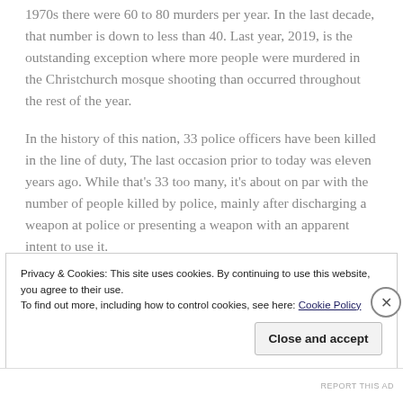1970s there were 60 to 80 murders per year. In the last decade, that number is down to less than 40. Last year, 2019, is the outstanding exception where more people were murdered in the Christchurch mosque shooting than occurred throughout the rest of the year.
In the history of this nation, 33 police officers have been killed in the line of duty, The last occasion prior to today was eleven years ago. While that's 33 too many, it's about on par with the number of people killed by police, mainly after discharging a weapon at police or presenting a weapon with an apparent intent to use it.
Privacy & Cookies: This site uses cookies. By continuing to use this website, you agree to their use.
To find out more, including how to control cookies, see here: Cookie Policy
Close and accept
REPORT THIS AD